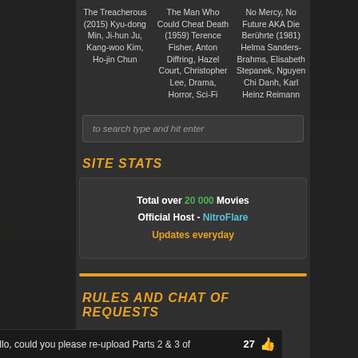The Treacherous (2015) Kyu-dong Min, Ji-hun Ju, Kang-woo Kim, Ho-jin Chun
The Man Who Could Cheat Death (1959) Terence Fisher, Anton Diffring, Hazel Court, Christopher Lee, Drama, Horror, Sci-Fi
No Mercy, No Future AKA Die Berührte (1981) Helma Sanders-Brahms, Elisabeth Stepanek, Nguyen Chi Danh, Karl Heinz Reimann
to search type and hit enter
SITE STATS
Total over 20 000 Movies Official Host - NitroFlare Updates everyday
RULES AND CHAT OF REQUESTS
1 - Search the existing database here
buffin77: Hello, could you please re-upload Parts 2 & 3 of  27